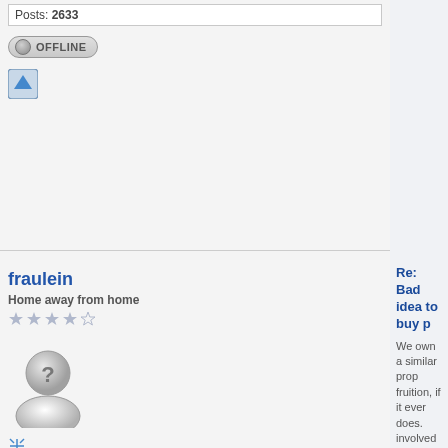Posts: 2633
[Figure (other): OFFLINE button with grey circle icon]
[Figure (other): Blue upward arrow icon button]
fraulein
Home away from home
[Figure (other): 4 grey stars rating out of 5]
[Figure (other): Default user avatar with question mark]
[Figure (other): Resize/expand icon]
| Joined: | 2007/4/16 13:46 | Last Login : | 4/16 11:24 |
| From Village/HP |
| Group: | Registered Users |
| Posts: 468 |
[Figure (other): OFFLINE button with grey circle icon]
[Figure (other): Blue upward arrow icon button]
Re: Bad idea to buy p
We own a similar prop fruition, if it ever does. involved in any planni the proposed park pla